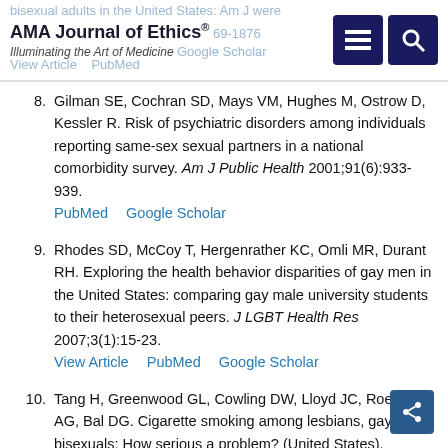AMA Journal of Ethics® — Illuminating the Art of Medicine
8. Gilman SE, Cochran SD, Mays VM, Hughes M, Ostrow D, Kessler R. Risk of psychiatric disorders among individuals reporting same-sex sexual partners in a national comorbidity survey. Am J Public Health 2001;91(6):933-939. PubMed  Google Scholar
9. Rhodes SD, McCoy T, Hergenrather KC, Omli MR, Durant RH. Exploring the health behavior disparities of gay men in the United States: comparing gay male university students to their heterosexual peers. J LGBT Health Res 2007;3(1):15-23. View Article  PubMed  Google Scholar
10. Tang H, Greenwood GL, Cowling DW, Lloyd JC, Roeseler AG, Bal DG. Cigarette smoking among lesbians, gays, and bisexuals: How serious a problem? (United States). Cancer Causes Control